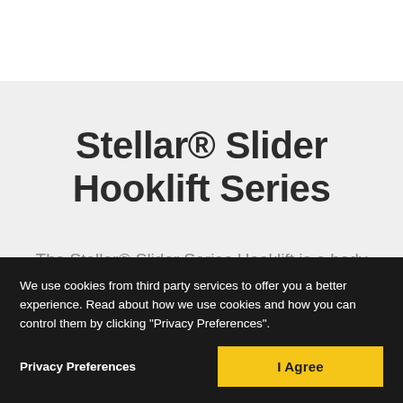Stellar® Slider Hooklift Series
The Stellar® Slider Series Hooklift is a body handling system mounted on a truck chassis that is capable of loading, unloading and
We use cookies from third party services to offer you a better experience. Read about how we use cookies and how you can control them by clicking "Privacy Preferences".
Privacy Preferences
I Agree
LEARN MORE AT STELLAR®